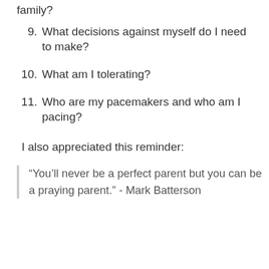family?
9. What decisions against myself do I need to make?
10. What am I tolerating?
11. Who are my pacemakers and who am I pacing?
I also appreciated this reminder:
“You’ll never be a perfect parent but you can be a praying parent.” - Mark Batterson